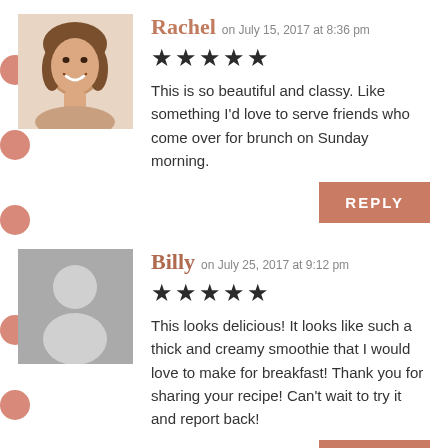[Figure (photo): Avatar photo of Rachel, a smiling woman with curly brown hair]
Rachel on July 15, 2017 at 8:36 pm
★★★★★
This is so beautiful and classy. Like something I'd love to serve friends who come over for brunch on Sunday morning.
REPLY
[Figure (illustration): Generic avatar placeholder (grey silhouette of a person) for user Billy]
Billy on July 25, 2017 at 9:12 pm
★★★★★
This looks delicious! It looks like such a thick and creamy smoothie that I would love to make for breakfast! Thank you for sharing your recipe! Can't wait to try it and report back!
REPLY